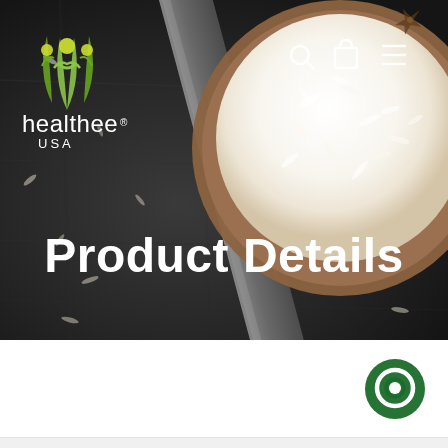[Figure (photo): Hero banner of Healthee USA website showing a bowl of white rice on a dark textured background with a spatula/spoon, scattered rice grains. The website header includes the Healthee USA logo (stylized green figures/wheat icon), navigation icons (search, cart, menu) in white, and the page title 'Product Details' in large bold white text centered over the image.]
Product Details
[Figure (other): Green circular chat/messaging icon in the bottom-right area of the white section below the hero image.]